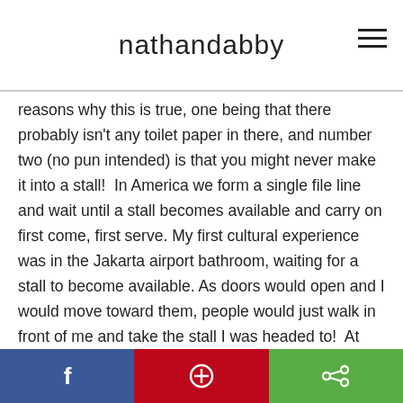nathandabby
reasons why this is true, one being that there probably isn't any toilet paper in there, and number two (no pun intended) is that you might never make it into a stall!  In America we form a single file line and wait until a stall becomes available and carry on first come, first serve.  My first cultural experience was in the Jakarta airport bathroom, waiting for a stall to become available. As doors would open and I would move toward them, people would just walk in front of me and take the stall I was headed to!  At first I was confused as there is no apparent “line” or method to the madness, but I soon realized if I wanted to get “my turn” I just had to plant myself in front of an occupied stall and wait until that person came out, not allowing any room for others to get ahead of me – I wont go into detail about the stall I picked happening to
Share bar with Facebook, Pinterest, and share icons